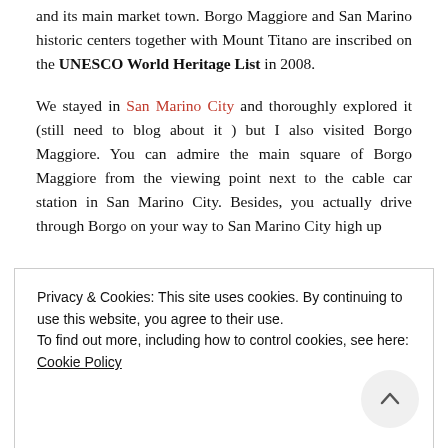and its main market town. Borgo Maggiore and San Marino historic centers together with Mount Titano are inscribed on the UNESCO World Heritage List in 2008.
We stayed in San Marino City and thoroughly explored it (still need to blog about it ) but I also visited Borgo Maggiore. You can admire the main square of Borgo Maggiore from the viewing point next to the cable car station in San Marino City. Besides, you actually drive through Borgo on your way to San Marino City high up
Privacy & Cookies: This site uses cookies. By continuing to use this website, you agree to their use.
To find out more, including how to control cookies, see here: Cookie Policy
CLOSE AND ACCEPT